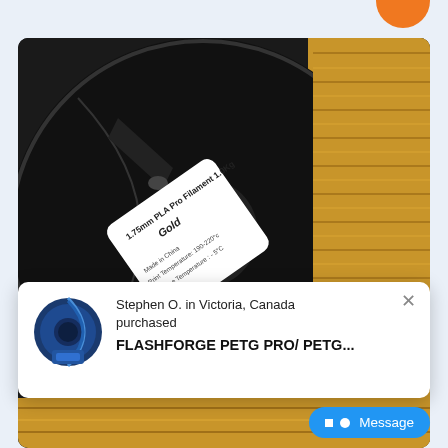[Figure (photo): Orange logo/brand icon partially visible at top right corner of the page]
[Figure (photo): Close-up photo of a black 3D printer filament spool showing gold/yellow PLA filament wound on the spool. A white label on the spool reads '1.75mm PLA Pro Filament 1.0Kg Gold, Made in China, Print Temperature: 190-220°C, Storage Temperature: -5°C'. The right side of the spool shows the gold colored filament wound in the spool cavity.]
Stephen O. in Victoria, Canada purchased
FLASHFORGE PETG PRO/ PETG...
[Figure (photo): Small product thumbnail image of blue PETG filament spool shown inside the popup notification]
Message